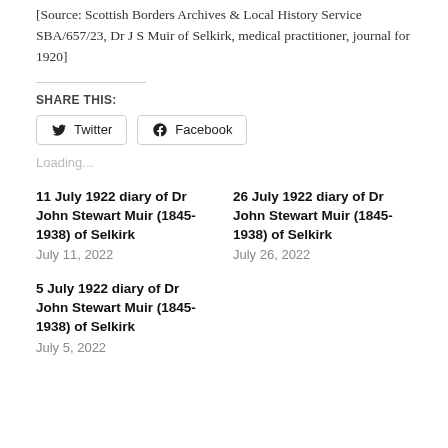[Source: Scottish Borders Archives & Local History Service SBA/657/23, Dr J S Muir of Selkirk, medical practitioner, journal for 1920]
SHARE THIS:
Twitter  Facebook
Loading...
11 July 1922 diary of Dr John Stewart Muir (1845-1938) of Selkirk
July 11, 2022
26 July 1922 diary of Dr John Stewart Muir (1845-1938) of Selkirk
July 26, 2022
5 July 1922 diary of Dr John Stewart Muir (1845-1938) of Selkirk
July 5, 2022